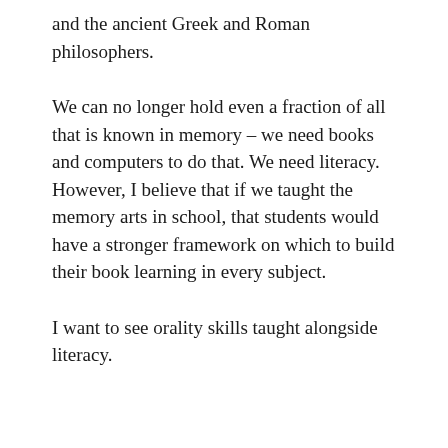and the ancient Greek and Roman philosophers.
We can no longer hold even a fraction of all that is known in memory – we need books and computers to do that. We need literacy. However, I believe that if we taught the memory arts in school, that students would have a stronger framework on which to build their book learning in every subject.
I want to see orality skills taught alongside literacy.